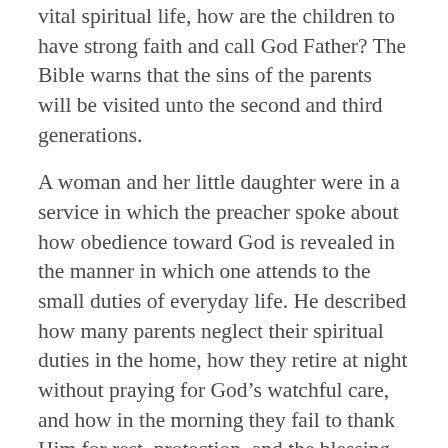vital spiritual life, how are the children to have strong faith and call God Father? The Bible warns that the sins of the parents will be visited unto the second and third generations.
A woman and her little daughter were in a service in which the preacher spoke about how obedience toward God is revealed in the manner in which one attends to the small duties of everyday life. He described how many parents neglect their spiritual duties in the home, how they retire at night without praying for God's watchful care, and how in the morning they fail to thank Him for rest, protection, and the blessing of the new day.
The little girl was listening. Turning to her